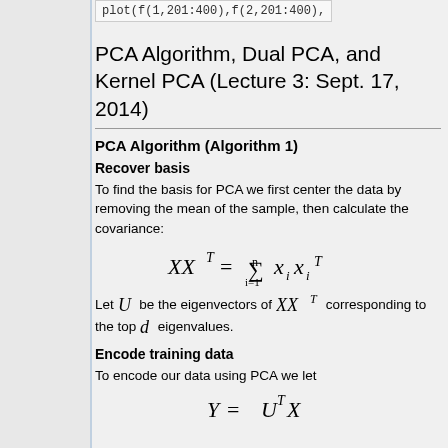[Figure (screenshot): Code snippet showing: plot(f(1,201:400),f(2,201:400),]
PCA Algorithm, Dual PCA, and Kernel PCA (Lecture 3: Sept. 17, 2014)
PCA Algorithm (Algorithm 1)
Recover basis
To find the basis for PCA we first center the data by removing the mean of the sample, then calculate the covariance:
Let U be the eigenvectors of XX^T corresponding to the top d eigenvalues.
Encode training data
To encode our data using PCA we let